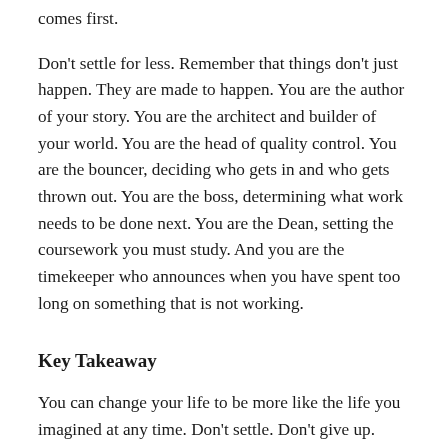comes first.
Don't settle for less. Remember that things don't just happen. They are made to happen. You are the author of your story. You are the architect and builder of your world. You are the head of quality control. You are the bouncer, deciding who gets in and who gets thrown out. You are the boss, determining what work needs to be done next. You are the Dean, setting the coursework you must study. And you are the timekeeper who announces when you have spent too long on something that is not working.
Key Takeaway
You can change your life to be more like the life you imagined at any time. Don't settle. Don't give up.